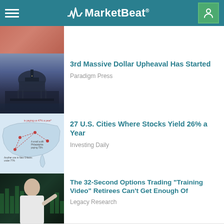MarketBeat
[Figure (photo): Partial thumbnail image at top, reddish tones]
3rd Massive Dollar Upheaval Has Started
Paradigm Press
[Figure (photo): US Capitol building at night with purple sky]
27 U.S. Cities Where Stocks Yield 26% a Year
Investing Daily
[Figure (map): Map of United States with annotations about cities paying high stock yields, 47% a year, Philadelphia paying 73%, New Orleans 77%]
The 32-Second Options Trading "Training Video" Retirees Can't Get Enough Of
Legacy Research
[Figure (photo): Man in white shirt speaking at microphone with green financial chart background]
Now $0.9 Quadrillion